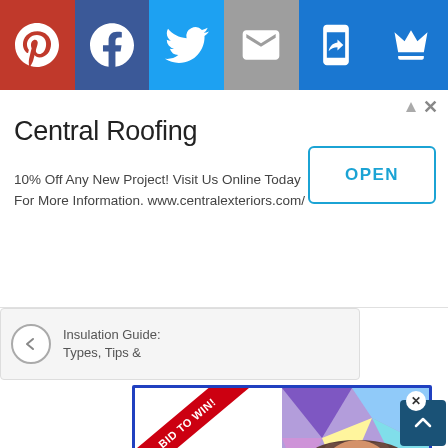[Figure (screenshot): Social media share bar with Pinterest (red), Facebook (dark blue), Twitter (light blue), Email (gray), SMS (blue), Crown/VIP (blue) buttons]
[Figure (screenshot): Advertisement banner for Central Roofing: '10% Off Any New Project! Visit Us Online Today For More Information. www.centralexteriors.com/' with OPEN button]
[Figure (screenshot): Previous article snippet: 'Insulation Guide: Types, Tips &' with back arrow]
[Figure (screenshot): Advertisement for Zoom with best-selling author Alan Gratz. 'BID TO WIN!' ribbon. 'ZOOM w/ BEST-SELLING AUTHOR ALAN GRATZ'. Photo of man with hat and glasses on geometric colorful background. 'Meet him with your school, school district, or writer's group!' CLOSE button.]